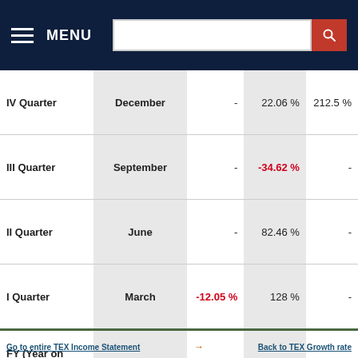MENU [navigation bar with search]
|  |  |  |  |  |
| --- | --- | --- | --- | --- |
| IV Quarter | December | - | 22.06 % | 212.5 % |
| III Quarter | September | - | -34.62 % | - |
| II Quarter | June | - | 82.46 % | - |
| I Quarter | March | -12.05 % | 128 % | - |
| FY (Year on Year) |  | - | - | - |
Go to entire TEX Income Statement → Back to TEX Growth rate